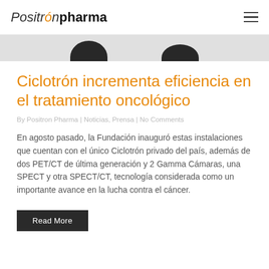Positrón pharma
[Figure (photo): Partial view of dark-colored medical imaging equipment caps against a light grey background]
Ciclotrón incrementa eficiencia en el tratamiento oncológico
By Positron Pharma | Noticias, Prensa | No Comments
En agosto pasado, la Fundación inauguró estas instalaciones que cuentan con el único Ciclotrón privado del país, además de dos PET/CT de última generación y 2 Gamma Cámaras, una SPECT y otra SPECT/CT, tecnología considerada como un importante avance en la lucha contra el cáncer.
Read More